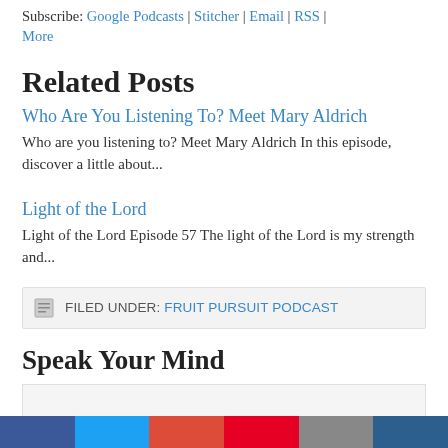Subscribe: Google Podcasts | Stitcher | Email | RSS | More
Related Posts
Who Are You Listening To? Meet Mary Aldrich
Who are you listening to?  Meet Mary Aldrich In this episode, discover a little about...
Light of the Lord
Light of the Lord Episode 57 The light of the Lord is my strength and...
FILED UNDER: FRUIT PURSUIT PODCAST
Speak Your Mind